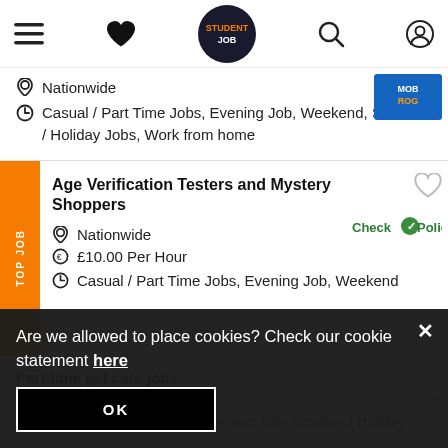StudentJob navigation bar with menu, favourites, logo, search, and profile icons
Nationwide
Casual / Part Time Jobs, Evening Job, Weekend, Summer / Holiday Jobs, Work from home
Age Verification Testers and Mystery Shoppers
Nationwide
£10.00 Per Hour
Casual / Part Time Jobs, Evening Job, Weekend
Part-time pet care jobs
Nationwide
Casual / Part Time Jobs, Evening Job, Summer / Holiday Jobs
Are we allowed to place cookies? Check our cookie statement here
OK